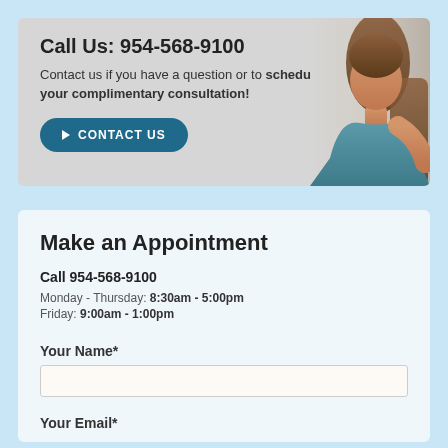Call Us: 954-568-9100
Contact us if you have a question or to schedule your complimentary consultation!
CONTACT US
[Figure (photo): Photo of a woman in a teal sleeveless top]
Make an Appointment
Call 954-568-9100
Monday - Thursday: 8:30am - 5:00pm
Friday: 9:00am - 1:00pm
Your Name*
Your Email*